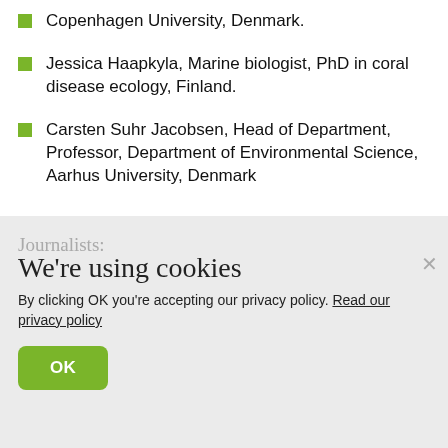Copenhagen University, Denmark.
Jessica Haapkyla, Marine biologist, PhD in coral disease ecology, Finland.
Carsten Suhr Jacobsen, Head of Department, Professor, Department of Environmental Science, Aarhus University, Denmark
Journalists:
We're using cookies
By clicking OK you're accepting our privacy policy. Read our privacy policy
Loukas Christodoulou, Radio Sweden
Lotte Krank-van de Burgt, YLE, Finland
Thomas Hebsgaard, Zetland, Denmark
Martin Breum, Journalist and writer, Denmark